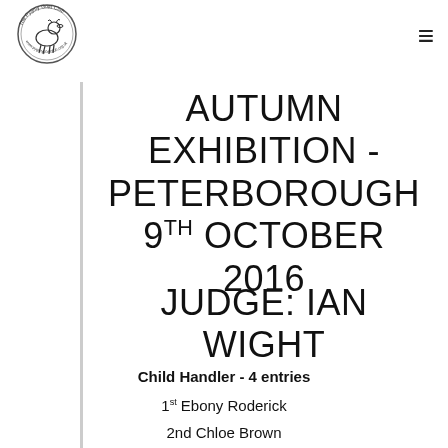[Figure (logo): The Pygmy Goat Club circular logo with goat illustration and website text around the border]
AUTUMN EXHIBITION - PETERBOROUGH 9TH OCTOBER 2016
JUDGE: IAN WIGHT
Child Handler - 4 entries
1st Ebony Roderick
2nd Chloe Brown